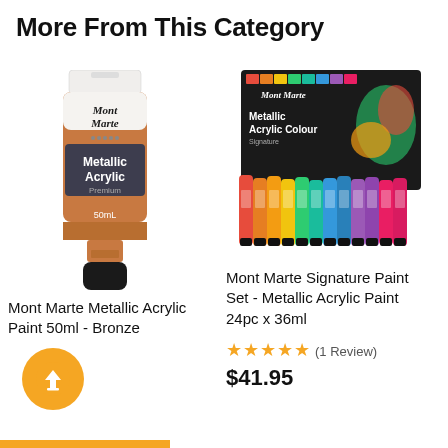More From This Category
[Figure (photo): Mont Marte Metallic Acrylic paint tube 50ml in bronze color, showing a single tube with brown/copper metallic paint and black cap]
Mont Marte Metallic Acrylic Paint 50ml - Bronze
[Figure (photo): Mont Marte Signature Metallic Acrylic Paint Set 24pc x 36ml box showing multiple colorful paint tubes spread out in front of the packaging]
Mont Marte Signature Paint Set - Metallic Acrylic Paint 24pc x 36ml
★★★★★ (1 Review)
$41.95